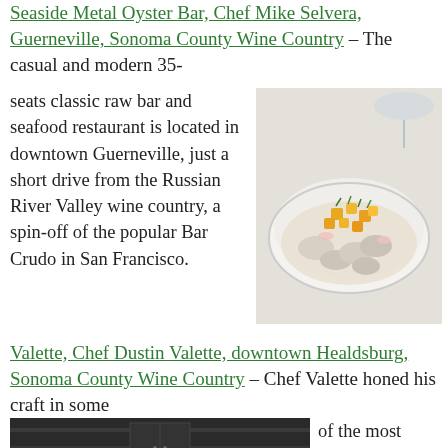Seaside Metal Oyster Bar, Chef Mike Selvera, Guerneville, Sonoma County Wine Country – The casual and modern 35-seats classic raw bar and seafood restaurant is located in downtown Guerneville, just a short drive from the Russian River Valley wine country, a spin-off of the popular Bar Crudo in San Francisco.
[Figure (photo): A white bowl containing oysters or seafood in a cream sauce, topped with diced yellow/orange fruits or vegetables and microgreens, with a cocktail glass visible in the background.]
Valette, Chef Dustin Valette, downtown Healdsburg, Sonoma County Wine Country – Chef Valette honed his craft in some of the most celebrated restaurants on the West Coast; including the Michelin-starred Aqua in San Francisco, Napa
[Figure (photo): A warm-toned wooden bar counter with the word 'Valette' written in cursive script, with dark shelving in the background.]